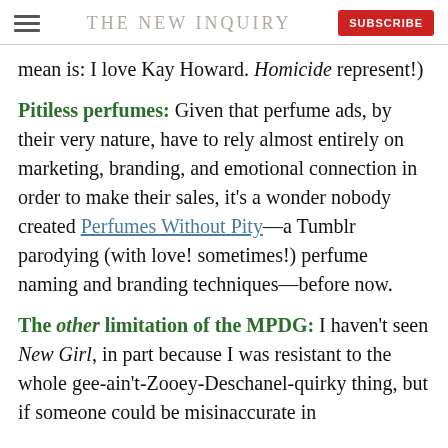THE NEW INQUIRY
mean is: I love Kay Howard. Homicide represent!)
Pitiless perfumes: Given that perfume ads, by their very nature, have to rely almost entirely on marketing, branding, and emotional connection in order to make their sales, it's a wonder nobody created Perfumes Without Pity—a Tumblr parodying (with love! sometimes!) perfume naming and branding techniques—before now.
The other limitation of the MPDG: I haven't seen New Girl, in part because I was resistant to the whole gee-ain't-Zooey-Deschanel-quirky thing, but if someone could be misinaccurate in